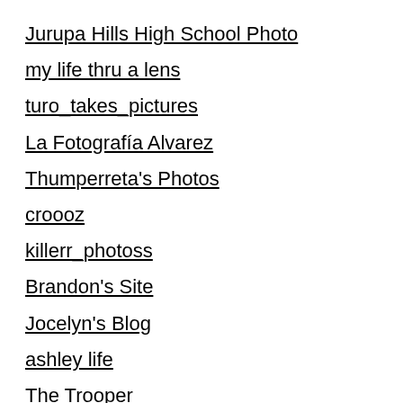Jurupa Hills High School Photo
my life thru a lens
turo_takes_pictures
La Fotografía Alvarez
Thumperreta's Photos
croooz
killerr_photoss
Brandon's Site
Jocelyn's Blog
ashley life
The Trooper
DBlock
rubisblog
Brandon's captures
Dezy gil-sandoval
Vacant Life